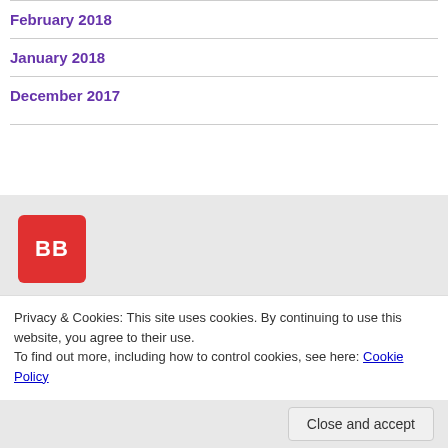February 2018
January 2018
December 2017
[Figure (logo): Red square logo with white text 'BB']
Privacy & Cookies: This site uses cookies. By continuing to use this website, you agree to their use.
To find out more, including how to control cookies, see here: Cookie Policy
Close and accept